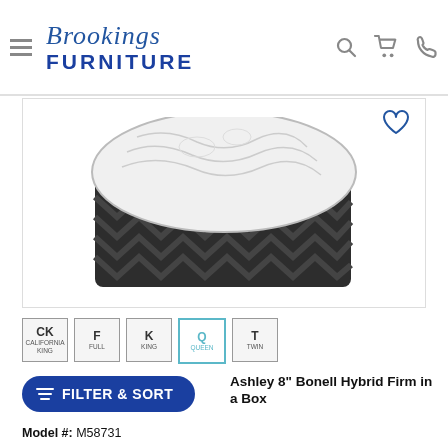Brookings Furniture
[Figure (photo): Close-up photo of a mattress corner showing white quilted top and dark charcoal zigzag-patterned side border.]
CK (California King)
F (Full)
K (King)
Q (Queen) - selected
T (Twin)
Ashley 8" Bonell Hybrid Firm in a Box
Model #: M58731